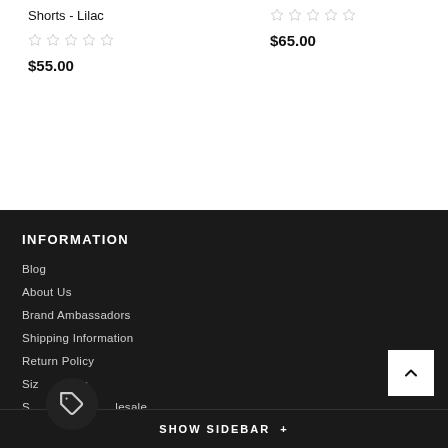Shorts - Lilac
$55.00
$65.00
INFORMATION
Blog
About Us
Brand Ambassadors
Shipping Information
Return Policy
Size Charts
Stockists / Wholesale
Contact Us
SHOW SIDEBAR +